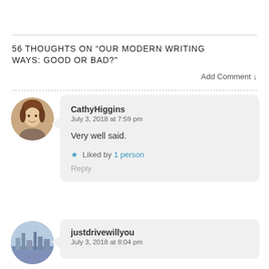56 THOUGHTS ON “OUR MODERN WRITING WAYS: GOOD OR BAD?”
Add Comment ↓
CathyHiggins
July 3, 2018 at 7:59 pm

Very well said.

★ Liked by 1 person

Reply
justdrivewillyou
July 3, 2018 at 8:04 pm